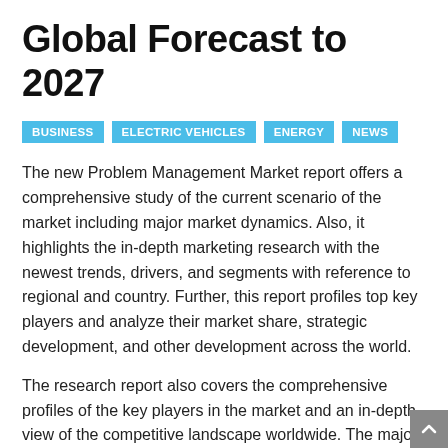Global Forecast to 2027
BUSINESS   ELECTRIC VEHICLES   ENERGY   NEWS
The new Problem Management Market report offers a comprehensive study of the current scenario of the market including major market dynamics. Also, it highlights the in-depth marketing research with the newest trends, drivers, and segments with reference to regional and country. Further, this report profiles top key players and analyze their market share, strategic development, and other development across the world.
The research report also covers the comprehensive profiles of the key players in the market and an in-depth view of the competitive landscape worldwide. The major players in the problem management market include BMC Software Inc., Cherwell Software, IBM Corporation, ANDREX, Service Now, Enter...